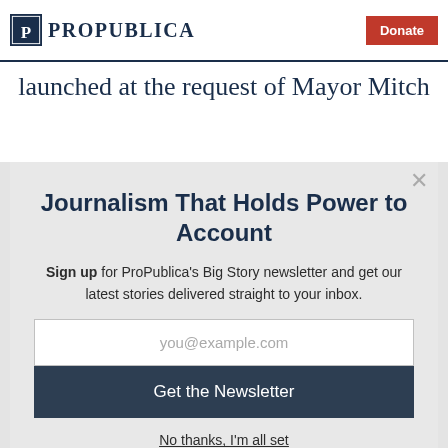ProPublica | Donate
launched at the request of Mayor Mitch
Journalism That Holds Power to Account
Sign up for ProPublica's Big Story newsletter and get our latest stories delivered straight to your inbox.
you@example.com
Get the Newsletter
No thanks, I'm all set
This site is protected by reCAPTCHA and the Google Privacy Policy and Terms of Service apply.